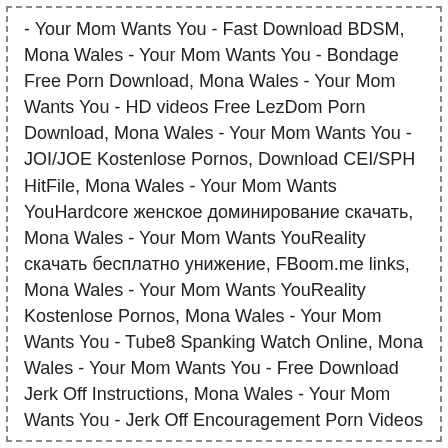- Your Mom Wants You - Fast Download BDSM, Mona Wales - Your Mom Wants You - Bondage Free Porn Download, Mona Wales - Your Mom Wants You - HD videos Free LezDom Porn Download, Mona Wales - Your Mom Wants You - JOI/JOE Kostenlose Pornos, Download CEI/SPH HitFile, Mona Wales - Your Mom Wants YouHardcore женское доминирование скачать, Mona Wales - Your Mom Wants YouReality скачать бесплатно унижение, FBoom.me links, Mona Wales - Your Mom Wants YouReality Kostenlose Pornos, Mona Wales - Your Mom Wants You - Tube8 Spanking Watch Online, Mona Wales - Your Mom Wants You - Free Download Jerk Off Instructions, Mona Wales - Your Mom Wants You - Jerk Off Encouragement Porn Videos and Movies download for free, Mona Wales - Your Mom Wants You - Pornhub Foot Fetish Watch Online, Mirror Turbobit, Mona Wales - Your Mom Wants You - Tube Porn, Mona Wales - Your Mom Wants You -